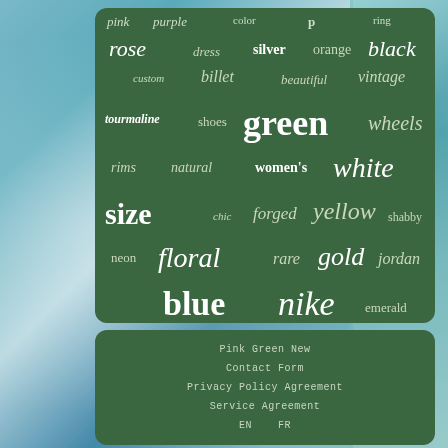[Figure (infographic): Word cloud on dark green background featuring words related to colors, fashion, and products: pink, purple, color, ring, rose, dress, silver, orange, black, custom, billet, beautiful, vintage, tourmaline, shoes, green (large), wheels, rims, natural, women's, white, size, chic, forged, yellow, shabby, neon, floral, rare, gold, jordan, blue, nike, emerald]
Pink Green New
Contact Form
Privacy Policy Agreement
Service Agreement
EN  FR